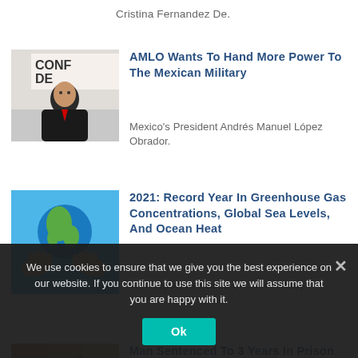Cristina Fernandez De.
[Figure (photo): Photo of AMLO (Andrés Manuel López Obrador) at a press conference with a sign reading 'CONFE DE' in the background]
AMLO Wants To Hand More Power To The Mexican Military
Mexico's President Andrés Manuel López Obrador.
[Figure (photo): Hands holding up a globe/Earth against a blue sky background]
2021: Record Year In Greenhouse Gas Concentrations, Global Sea Levels, And Ocean Heat
In A Report Released On Wednesday,.
[Figure (photo): A wooden judge's gavel resting on a book]
Man Sentenced To 3 Years In Prison For House Robbery In Downtown Merida
We use cookies to ensure that we give you the best experience on our website. If you continue to use this site we will assume that you are happy with it.
Ok